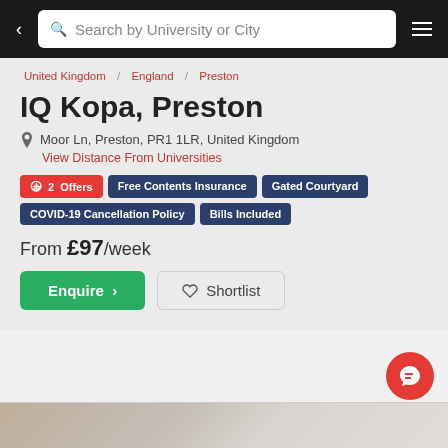Search by University or City
United Kingdom / England / Preston
IQ Kopa, Preston
Moor Ln, Preston, PR1 1LR, United Kingdom
View Distance From Universities
2 Offers
Free Contents Insurance
Gated Courtyard
COVID-19 Cancellation Policy
Bills Included
From £97/week
Enquire
Shortlist